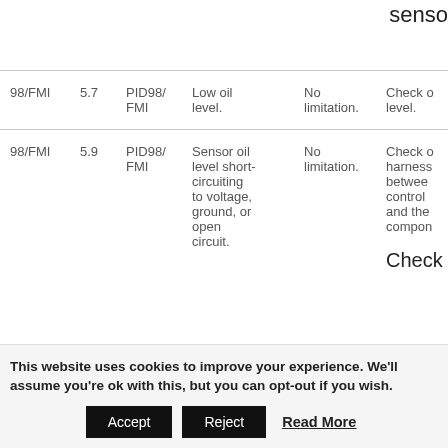sensor
| Code |  | Label | Description | Limitation | Action |
| --- | --- | --- | --- | --- | --- |
| 98/FMI | 5.7 | PID98/FMI | Low oil level. | No limitation. | Check oil level. |
| 98/FMI | 5.9 | PID98/FMI | Sensor oil level short-circuiting to voltage, ground, or open circuit. | No limitation. | Check harness between controller and the component. Check... |
This website uses cookies to improve your experience. We'll assume you're ok with this, but you can opt-out if you wish.
Accept | Reject | Read More